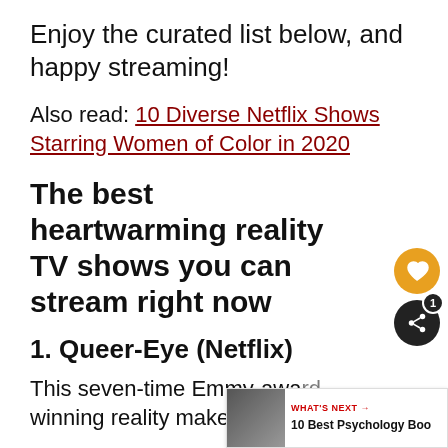Enjoy the curated list below, and happy streaming!
Also read: 10 Diverse Netflix Shows Starring Women of Color in 2020
The best heartwarming reality TV shows you can stream right now
1. Queer-Eye (Netflix)
This seven-time Emmy-award winning reality makeover show is